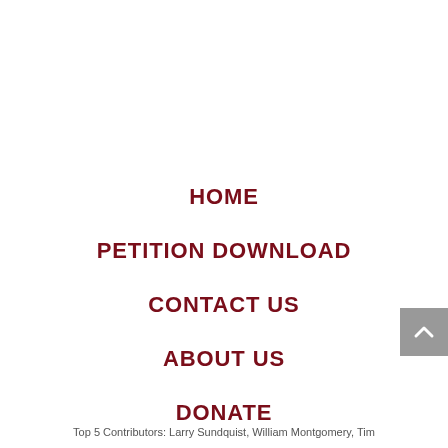HOME
PETITION DOWNLOAD
CONTACT US
ABOUT US
DONATE
Top 5 Contributors: Larry Sundquist, William Montgomery, Tim